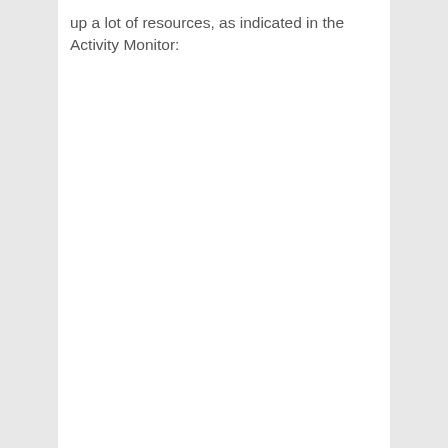up a lot of resources, as indicated in the Activity Monitor: